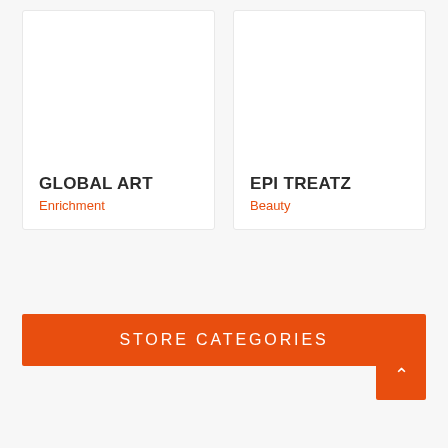[Figure (screenshot): Card for GLOBAL ART store listing with white background]
GLOBAL ART
Enrichment
[Figure (screenshot): Card for EPI TREATZ store listing with white background]
EPI TREATZ
Beauty
STORE CATEGORIES